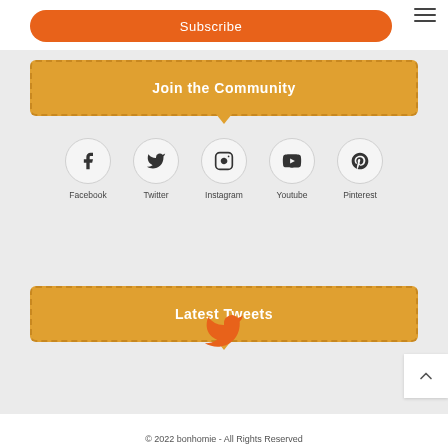[Figure (other): Hamburger menu icon (three horizontal lines) in top right corner]
[Figure (other): Orange Subscribe button (rounded rectangle)]
Join the Community
[Figure (other): Social media icons row: Facebook, Twitter, Instagram, Youtube, Pinterest with circular borders and labels]
Latest Tweets
[Figure (illustration): Orange Twitter bird icon]
[Figure (other): Back to top arrow button (white box with up chevron)]
© 2022 bonhomie - All Rights Reserved